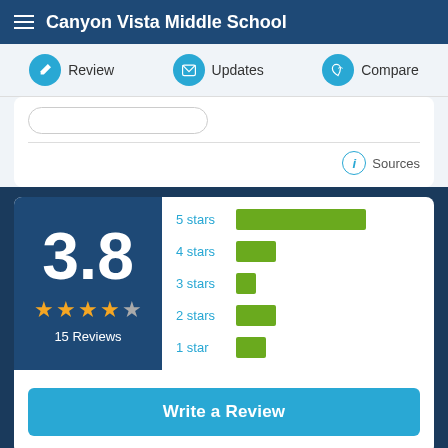Canyon Vista Middle School
Review | Updates | Compare
Sources
[Figure (bar-chart): Star Rating Distribution]
3.8
15 Reviews
Write a Review